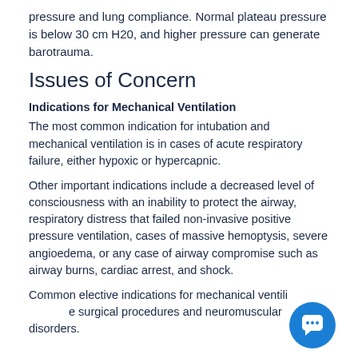pressure and lung compliance. Normal plateau pressure is below 30 cm H20, and higher pressure can generate barotrauma.
Issues of Concern
Indications for Mechanical Ventilation
The most common indication for intubation and mechanical ventilation is in cases of acute respiratory failure, either hypoxic or hypercapnic.
Other important indications include a decreased level of consciousness with an inability to protect the airway, respiratory distress that failed non-invasive positive pressure ventilation, cases of massive hemoptysis, severe angioedema, or any case of airway compromise such as airway burns, cardiac arrest, and shock.
Common elective indications for mechanical ventilation include surgical procedures and neuromuscular disorders.